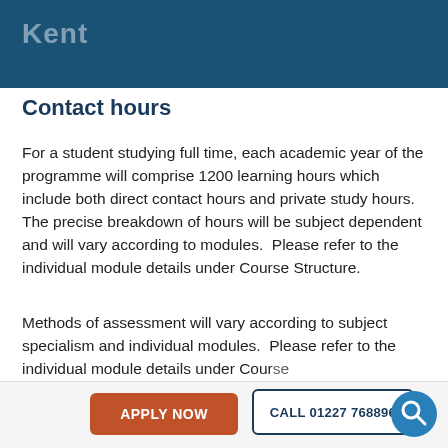Kent
Contact hours
For a student studying full time, each academic year of the programme will comprise 1200 learning hours which include both direct contact hours and private study hours.  The precise breakdown of hours will be subject dependent and will vary according to modules.  Please refer to the individual module details under Course Structure.
Methods of assessment will vary according to subject specialism and individual modules.  Please refer to the individual module details under Course
APPLY NOW | CALL 01227 768896